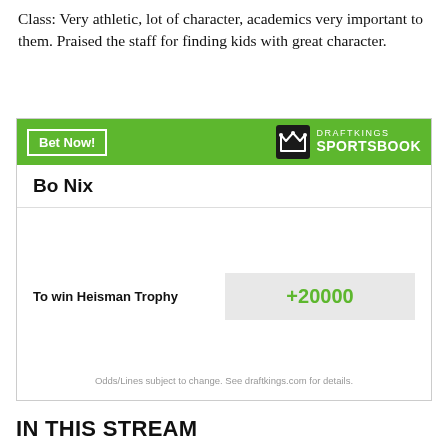Class: Very athletic, lot of character, academics very important to them. Praised the staff for finding kids with great character.
[Figure (other): DraftKings Sportsbook betting widget showing Bo Nix with odds to win Heisman Trophy at +20000]
IN THIS STREAM